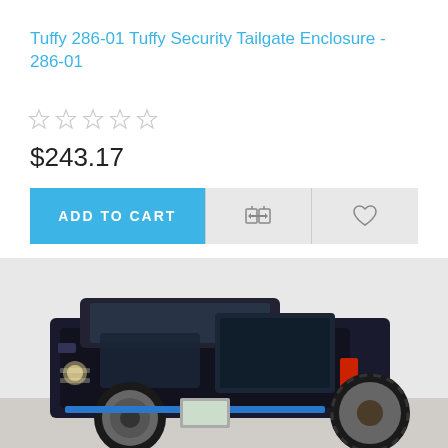Tuffy 286-01 Tuffy Security Tailgate Enclosure - 286-01
[Figure (other): Five empty star rating icons]
$243.17
ADD TO CART
[Figure (photo): Photo of a Jeep Wrangler from rear angle showing the tailgate area with a spare tire mounted on the back, taken outdoors]